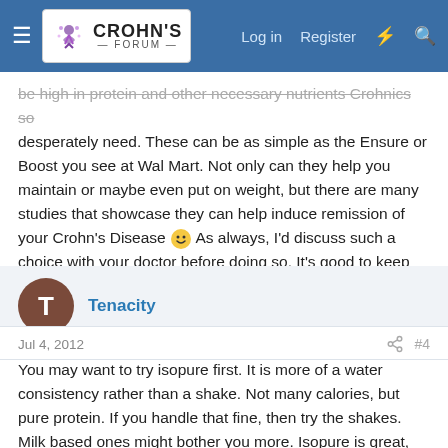Crohn's Forum — Navigation bar with Log in, Register links
be high in protein and other necessary nutrients Crohnics so desperately need. These can be as simple as the Ensure or Boost you see at Wal Mart. Not only can they help you maintain or maybe even put on weight, but there are many studies that showcase they can help induce remission of your Crohn's Disease 🙂 As always, I'd discuss such a choice with your doctor before doing so. It's good to keep them in the loop and see what they have to say.
Tenacity
Jul 4, 2012
#4
You may want to try isopure first. It is more of a water consistency rather than a shake. Not many calories, but pure protein. If you handle that fine, then try the shakes. Milk based ones might bother you more. Isopure is great, only down side is price. You can also drink it the day before a colonoscopy, and